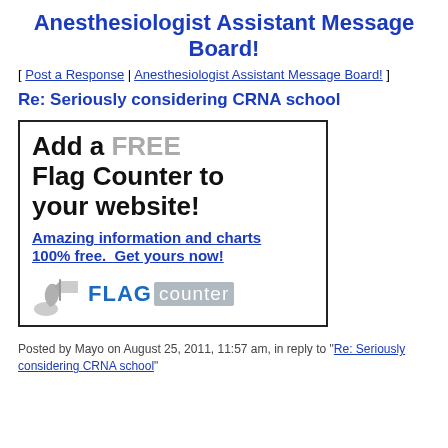Anesthesiologist Assistant Message Board!
[ Post a Response | Anesthesiologist Assistant Message Board! ]
Re: Seriously considering CRNA school
[Figure (other): Advertisement banner for Flag Counter service. Text reads: Add a FREE Flag Counter to your website! Amazing information and charts 100% free. Get yours now! with Flag Counter logo at bottom.]
Posted by Mayo on August 25, 2011, 11:57 am, in reply to "Re: Seriously considering CRNA school"